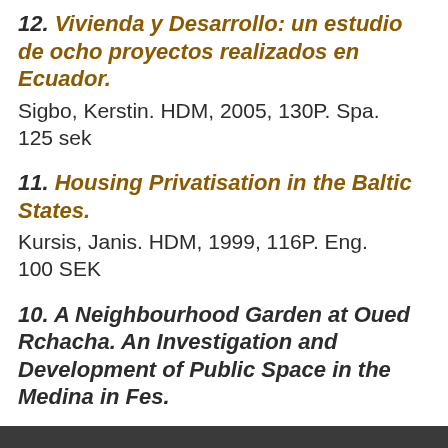12. Vivienda y Desarrollo: un estudio de ocho proyectos realizados en Ecuador. Sigbo, Kerstin. HDM, 2005, 130P. Spa. 125 sek
11. Housing Privatisation in the Baltic States. Kursis, Janis. HDM, 1999, 116P. Eng. 100 SEK
10. A Neighbourhood Garden at Oued Rchacha. An Investigation and Development of Public Space in the Medina in Fes.